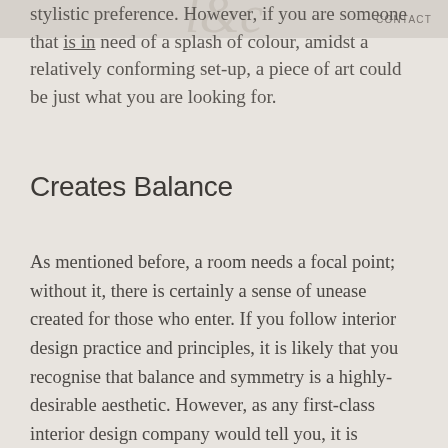CONTACT
stylistic preference. However, if you are someone that is in need of a splash of colour, amidst a relatively conforming set-up, a piece of art could be just what you are looking for.
Creates Balance
As mentioned before, a room needs a focal point; without it, there is certainly a sense of unease created for those who enter. If you follow interior design practice and principles, it is likely that you recognise that balance and symmetry is a highly-desirable aesthetic. However, as any first-class interior design company would tell you, it is important to have one element which stands out amongst the rest – this is